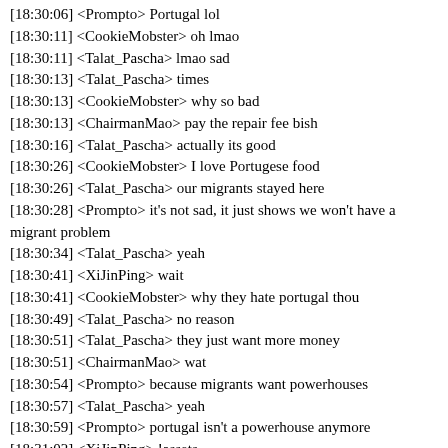[18:30:06] <Prompto> Portugal lol
[18:30:11] <CookieMobster> oh lmao
[18:30:11] <Talat_Pascha> lmao sad
[18:30:13] <Talat_Pascha> times
[18:30:13] <CookieMobster> why so bad
[18:30:13] <ChairmanMao> pay the repair fee bish
[18:30:16] <Talat_Pascha> actually its good
[18:30:26] <CookieMobster> I love Portugese food
[18:30:26] <Talat_Pascha> our migrants stayed here
[18:30:28] <Prompto> it's not sad, it just shows we won't have a migrant problem
[18:30:34] <Talat_Pascha> yeah
[18:30:41] <XiJinPing> wait
[18:30:41] <CookieMobster> why they hate portugal thou
[18:30:49] <Talat_Pascha> no reason
[18:30:51] <Talat_Pascha> they just want more money
[18:30:51] <ChairmanMao> wat
[18:30:54] <Prompto> because migrants want powerhouses
[18:30:57] <Talat_Pascha> yeah
[18:30:59] <Prompto> portugal isn't a powerhouse anymore
[18:31:02] <XiJinPing> !assets
[18:31:04] (WEB) <robin_be> XiJinPing has 43 car(s) ($23,855,000) and 3 house(s) ($57,000,000 - 55 slots) for a total of $80,855,000
[18:31:07] <CookieMobster> gotta go to the $$$ countries :D